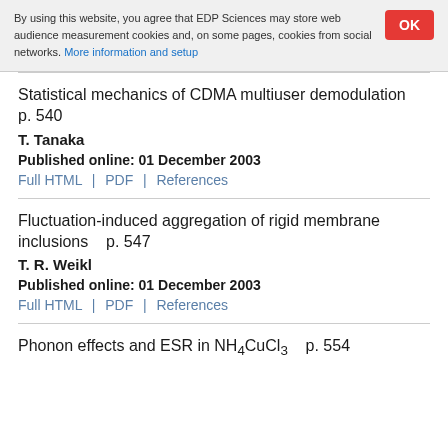By using this website, you agree that EDP Sciences may store web audience measurement cookies and, on some pages, cookies from social networks. More information and setup
Statistical mechanics of CDMA multiuser demodulation   p. 540
T. Tanaka
Published online: 01 December 2003
Full HTML | PDF | References
Fluctuation-induced aggregation of rigid membrane inclusions   p. 547
T. R. Weikl
Published online: 01 December 2003
Full HTML | PDF | References
Phonon effects and ESR in NH4CuCl3   p. 554